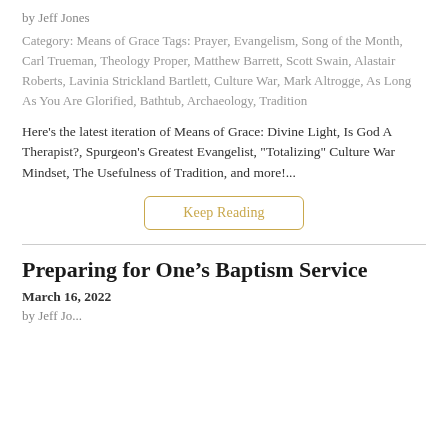by Jeff Jones
Category: Means of Grace Tags: Prayer, Evangelism, Song of the Month, Carl Trueman, Theology Proper, Matthew Barrett, Scott Swain, Alastair Roberts, Lavinia Strickland Bartlett, Culture War, Mark Altrogge, As Long As You Are Glorified, Bathtub, Archaeology, Tradition
Here's the latest iteration of Means of Grace: Divine Light, Is God A Therapist?, Spurgeon's Greatest Evangelist, "Totalizing" Culture War Mindset, The Usefulness of Tradition, and more!...
Keep Reading
Preparing for One's Baptism Service
March 16, 2022
by Jeff Jo...